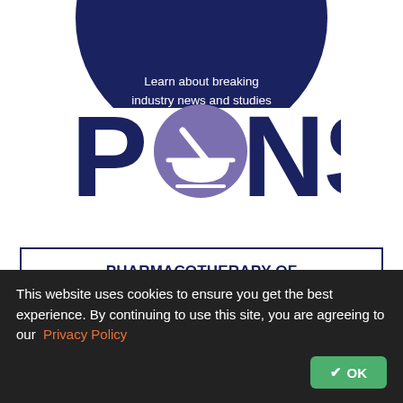[Figure (logo): Dark blue semicircle at top with white text: 'Learn about breaking industry news and studies in neurocritical care.']
[Figure (logo): PONS logo — large dark blue letters P, N, S with a purple mortar-and-pestle circle replacing the O]
PHARMACOTHERAPY OF NEUROCRITICAL CARE SERIES
The Pharmacotherapy of Neurocritial Care Series (PONS) is a curriculum based e-learning series comprised of various neuropharmacotherapy topics presented by experts in
This website uses cookies to ensure you get the best experience. By continuing to use this site, you are agreeing to our  Privacy Policy